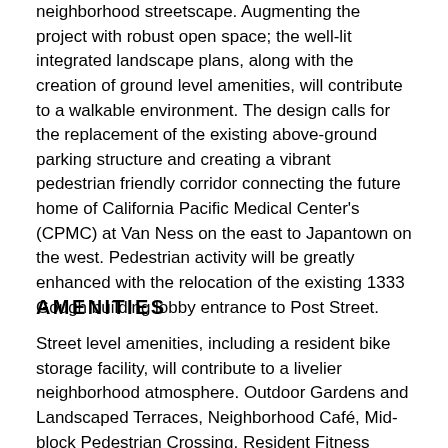neighborhood streetscape. Augmenting the project with robust open space; the well-lit integrated landscape plans, along with the creation of ground level amenities, will contribute to a walkable environment. The design calls for the replacement of the existing above-ground parking structure and creating a vibrant pedestrian friendly corridor connecting the future home of California Pacific Medical Center's (CPMC) at Van Ness on the east to Japantown on the west. Pedestrian activity will be greatly enhanced with the relocation of the existing 1333 Gough building lobby entrance to Post Street.
AMENITIES
Street level amenities, including a resident bike storage facility, will contribute to a livelier neighborhood atmosphere. Outdoor Gardens and Landscaped Terraces, Neighborhood Café, Mid-block Pedestrian Crossing, Resident Fitness Facility with swimming pool